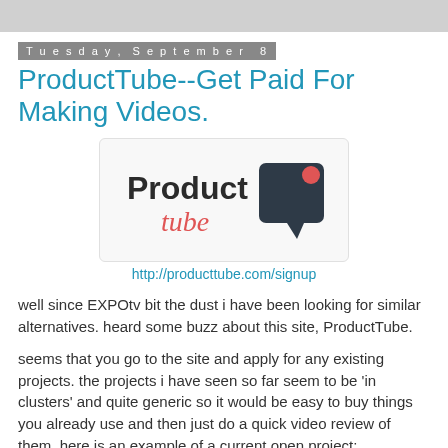Tuesday, September 8
ProductTube--Get Paid For Making Videos.
[Figure (logo): ProductTube logo: text 'Product' in dark sans-serif and 'tube' in red cursive, next to a dark speech bubble icon with a red dot]
http://producttube.com/signup
well since EXPOtv bit the dust i have been looking for similar alternatives. heard some buzz about this site, ProductTube.
seems that you go to the site and apply for any existing projects. the projects i have seen so far seem to be 'in clusters' and quite generic so it would be easy to buy things you already use and then just do a quick video review of them. here is an example of a current open project: